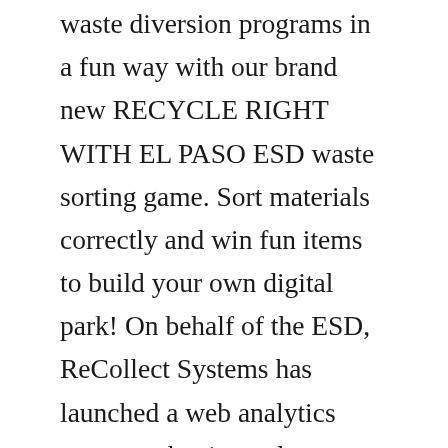waste diversion programs in a fun way with our brand new RECYCLE RIGHT WITH EL PASO ESD waste sorting game. Sort materials correctly and win fun items to build your own digital park! On behalf of the ESD, ReCollect Systems has launched a web analytics program that is used to ...Learn about City of Vancouver's waste diversion programs in a fun way with our brand new VanSort waste sorting game. Sort materials correctly and win fun items to